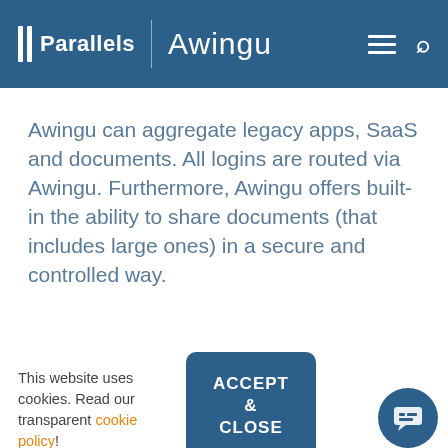Parallels | Awingu
Awingu can aggregate legacy apps, SaaS and documents. All logins are routed via Awingu. Furthermore, Awingu offers built-in the ability to share documents (that includes large ones) in a secure and controlled way.
This website uses cookies. Read our transparent cookie policy!
ACCEPT & CLOSE
ime and historical view on whe... on, when and where. Anoma... havior are furthermore reported